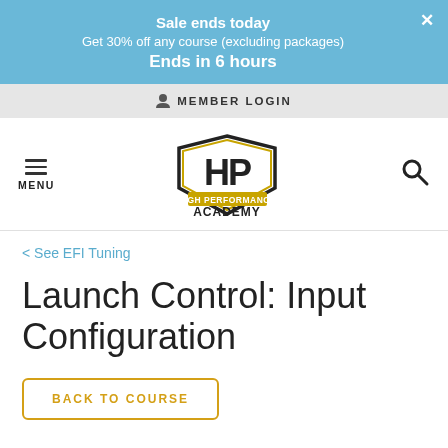Sale ends today
Get 30% off any course (excluding packages)
Ends in 6 hours
MEMBER LOGIN
[Figure (logo): HP High Performance Academy logo — collegiate shield style with 'HP' letters and 'ACADEMY' text below]
< See EFI Tuning
Launch Control: Input Configuration
BACK TO COURSE